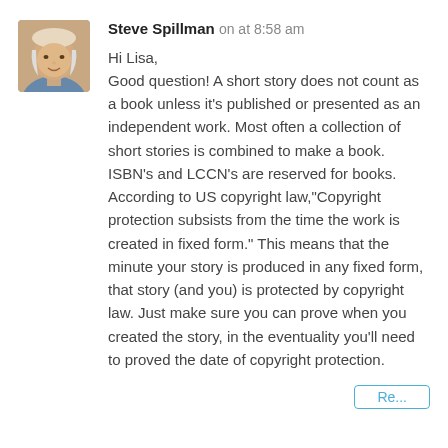[Figure (photo): Profile photo of Steve Spillman, a man with light hair]
Steve Spillman on at 8:58 am
Hi Lisa,
Good question! A short story does not count as a book unless it's published or presented as an independent work. Most often a collection of short stories is combined to make a book. ISBN’s and LCCN’s are reserved for books. According to US copyright law,“Copyright protection subsists from the time the work is created in fixed form.” This means that the minute your story is produced in any fixed form, that story (and you) is protected by copyright law. Just make sure you can prove when you created the story, in the eventuality you’ll need to proved the date of copyright protection.